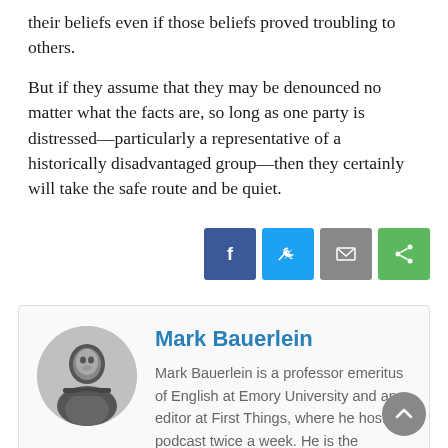their beliefs even if those beliefs proved troubling to others.
But if they assume that they may be denounced no matter what the facts are, so long as one party is distressed—particularly a representative of a historically disadvantaged group—then they certainly will take the safe route and be quiet.
[Figure (other): Social sharing buttons: Facebook (blue), Twitter (light blue), Email (gray), Share (green)]
[Figure (photo): Circular black and white author photo of Mark Bauerlein]
Mark Bauerlein
Mark Bauerlein is a professor emeritus of English at Emory University and an editor at First Things, where he hosts a podcast twice a week. He is the